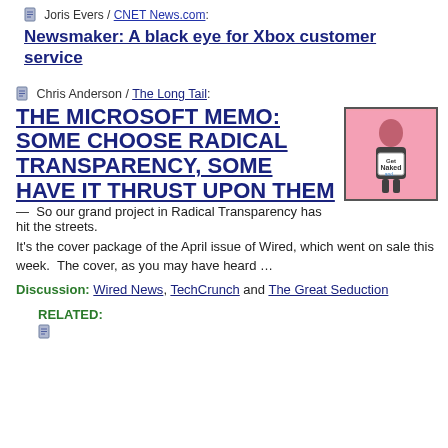Joris Evers / CNET News.com: Newsmaker: A black eye for Xbox customer service
Chris Anderson / The Long Tail: THE MICROSOFT MEMO: SOME CHOOSE RADICAL TRANSPARENCY, SOME HAVE IT THRUST UPON THEM — So our grand project in Radical Transparency has hit the streets. It's the cover package of the April issue of Wired, which went on sale this week. The cover, as you may have heard …
[Figure (photo): Thumbnail image of a person holding a sign that reads 'Get Naked and...' on a pink background]
Discussion: Wired News, TechCrunch and The Great Seduction
RELATED:
(related item icon and partial text)